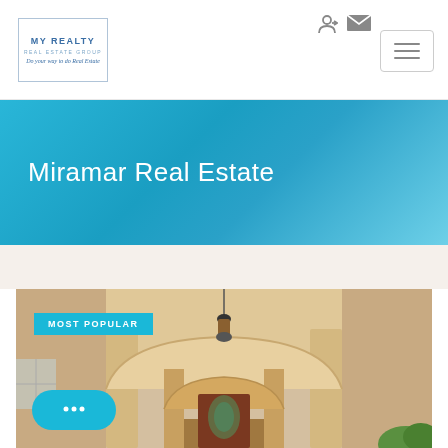[Figure (logo): MY REALTY REAL ESTATE GROUP logo with tagline 'Do your way to do Real Estate']
[Figure (infographic): Sign-in and mail icons in header top right]
[Figure (infographic): Hamburger menu button top right]
Miramar Real Estate
MOST POPULAR
[Figure (photo): Exterior photo of a house with arched entrance, pendant lamp, and front door with glass inset]
[Figure (infographic): Chat bubble button (three dots/ellipsis)]